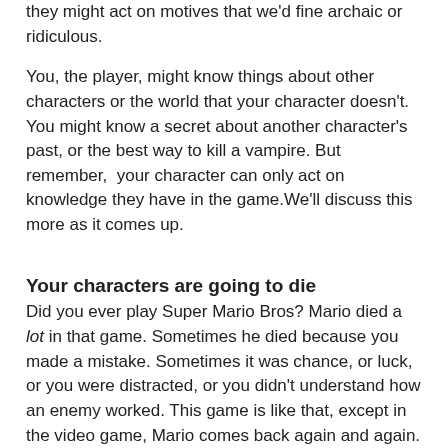they might act on motives that we'd fine archaic or ridiculous.
You, the player, might know things about other characters or the world that your character doesn't. You might know a secret about another character's past, or the best way to kill a vampire. But remember,  your character can only act on knowledge they have in the game.We'll discuss this more as it comes up.
Your characters are going to die
Did you ever play Super Mario Bros? Mario died a lot in that game. Sometimes he died because you made a mistake. Sometimes it was chance, or luck, or you were distracted, or you didn't understand how an enemy worked. This game is like that, except in the video game, Mario comes back again and again. In this game, each time you get a new character.
Having a character die doesn't mean you made a mistake or failed. It's part of the learning process. Sometimes it's just random chance.